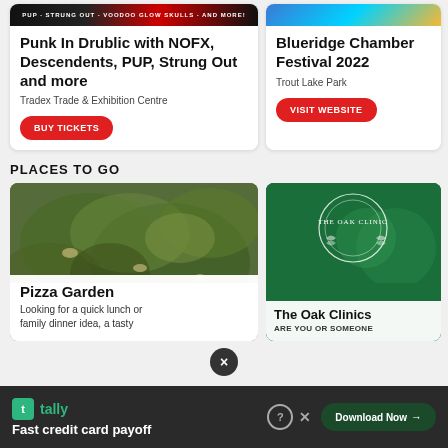[Figure (screenshot): Event card top strip for Punk In Drublic festival]
Punk In Drublic with NOFX, Descendents, PUP, Strung Out and more
Tradex Trade & Exhibition Centre
BUY TICKETS
[Figure (screenshot): Event card top strip for Blueridge Chamber Festival 2022]
Blueridge Chamber Festival 2022
Trout Lake Park
VISIT WEBSITE
PLACES TO GO
[Figure (photo): Food photo showing a green salad/pizza garden dish]
Pizza Garden
Looking for a quick lunch or family dinner idea, a tasty
[Figure (logo): The Oak Clinics green background with circular logo]
The Oak Clinics
ARE YOU OR SOMEONE
×
[Figure (screenshot): Tally advertisement banner - Fast credit card payoff]
tally
Fast credit card payoff
Download Now →